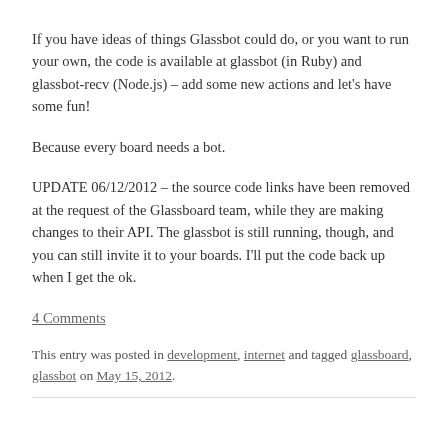If you have ideas of things Glassbot could do, or you want to run your own, the code is available at glassbot (in Ruby) and glassbot-recv (Node.js) – add some new actions and let's have some fun!
Because every board needs a bot.
UPDATE 06/12/2012 – the source code links have been removed at the request of the Glassboard team, while they are making changes to their API. The glassbot is still running, though, and you can still invite it to your boards. I'll put the code back up when I get the ok.
4 Comments
This entry was posted in development, internet and tagged glassboard, glassbot on May 15, 2012.